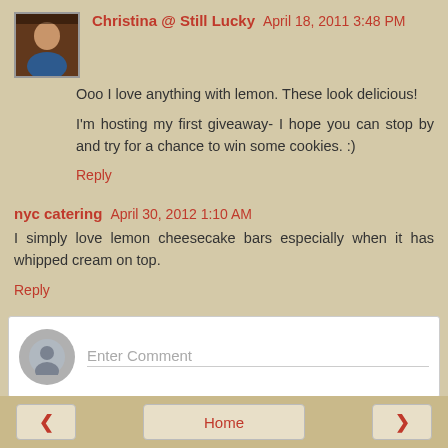Christina @ Still Lucky  April 18, 2011 3:48 PM
Ooo I love anything with lemon. These look delicious!
I'm hosting my first giveaway- I hope you can stop by and try for a chance to win some cookies. :)
Reply
nyc catering  April 30, 2012 1:10 AM
I simply love lemon cheesecake bars especially when it has whipped cream on top.
Reply
Enter Comment
Home